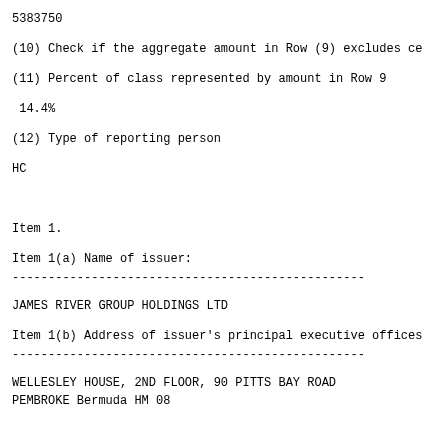5383750
(10) Check if the aggregate amount in Row (9) excludes ce
(11) Percent of class represented by amount in Row 9
14.4%
(12) Type of reporting person
HC
Item 1.
Item 1(a) Name of issuer:
JAMES RIVER GROUP HOLDINGS LTD
Item 1(b) Address of issuer's principal executive offices
WELLESLEY HOUSE, 2ND FLOOR, 90 PITTS BAY ROAD
PEMBROKE Bermuda HM 08